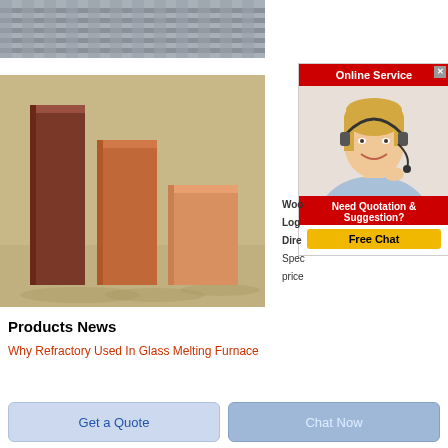[Figure (photo): Gray concrete construction elements / channels viewed from above]
[Figure (photo): Three brown/terracotta refractory fire bricks of varying heights standing upright]
[Figure (illustration): Online Service widget with red header, customer service representative with headset, and Free Chat button]
Woo Log Dire Spec price
Products News
Why Refractory Used In Glass Melting Furnace